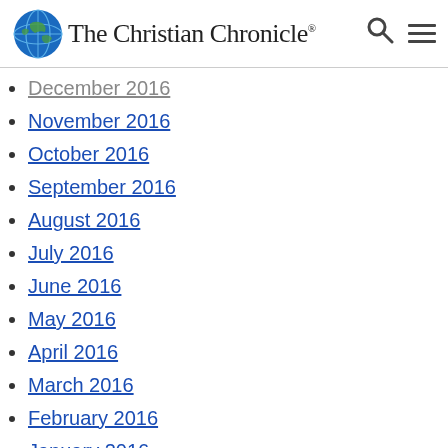The Christian Chronicle
December 2016
November 2016
October 2016
September 2016
August 2016
July 2016
June 2016
May 2016
April 2016
March 2016
February 2016
January 2016
December 2015
November 2015
October 2015